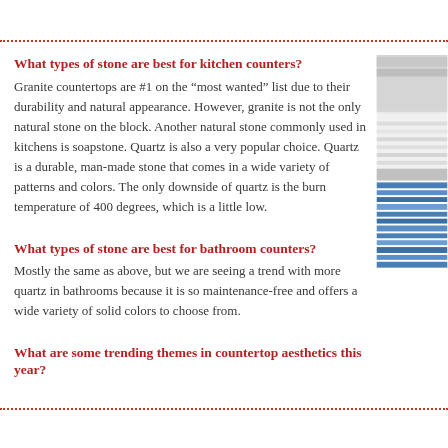What types of stone are best for kitchen counters?
Granite countertops are #1 on the “most wanted” list due to their durability and natural appearance. However, granite is not the only natural stone on the block. Another natural stone commonly used in kitchens is soapstone. Quartz is also a very popular choice. Quartz is a durable, man-made stone that comes in a wide variety of patterns and colors. The only downside of quartz is the burn temperature of 400 degrees, which is a little low.
What types of stone are best for bathroom counters?
Mostly the same as above, but we are seeing a trend with more quartz in bathrooms because it is so maintenance-free and offers a wide variety of solid colors to choose from.
What are some trending themes in countertop aesthetics this year?